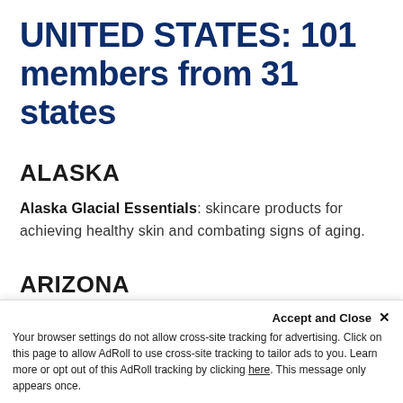UNITED STATES: 101 members from 31 states
ALASKA
Alaska Glacial Essentials: skincare products for achieving healthy skin and combating signs of aging.
ARIZONA
Coonier: a marketplace for cause driven
Accept and Close ×
Your browser settings do not allow cross-site tracking for advertising. Click on this page to allow AdRoll to use cross-site tracking to tailor ads to you. Learn more or opt out of this AdRoll tracking by clicking here. This message only appears once.